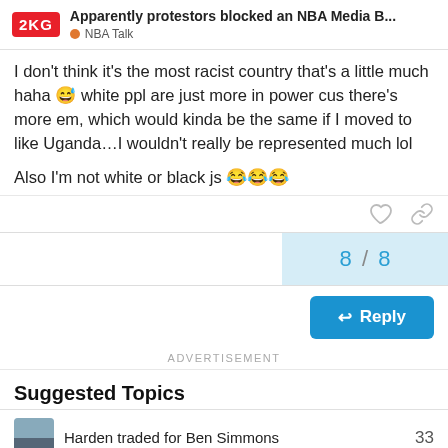Apparently protestors blocked an NBA Media B... | NBA Talk
I don't think it's the most racist country that's a little much haha 😅 white ppl are just more in power cus there's more em, which would kinda be the same if I moved to like Uganda…I wouldn't really be represented much lol

Also I'm not white or black js 😂😂😂
ADVERTISEMENT
Suggested Topics
Harden traded for Ben Simmons  33